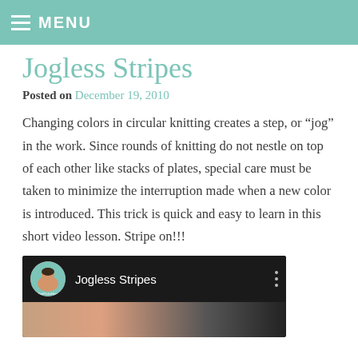≡ MENU
Jogless Stripes
Posted on December 19, 2010
Changing colors in circular knitting creates a step, or “jog” in the work. Since rounds of knitting do not nestle on top of each other like stacks of plates, special care must be taken to minimize the interruption made when a new color is introduced. This trick is quick and easy to learn in this short video lesson. Stripe on!!!
[Figure (screenshot): YouTube-style video player showing 'Jogless Stripes' with a channel icon (illustrated woman) on the left, the video title, three-dot menu, and a thumbnail preview below.]